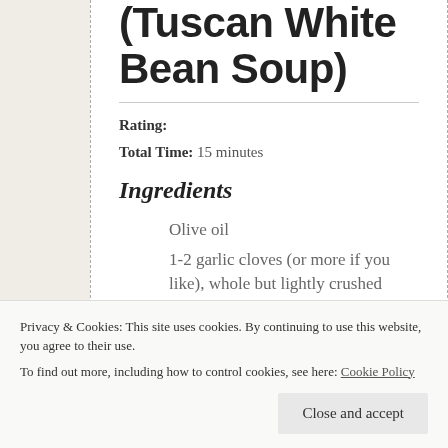(Tuscan White Bean Soup)
Rating:
Total Time: 15 minutes
Ingredients
Olive oil
1-2 garlic cloves (or more if you like), whole but lightly crushed
Privacy & Cookies: This site uses cookies. By continuing to use this website, you agree to their use. To find out more, including how to control cookies, see here: Cookie Policy